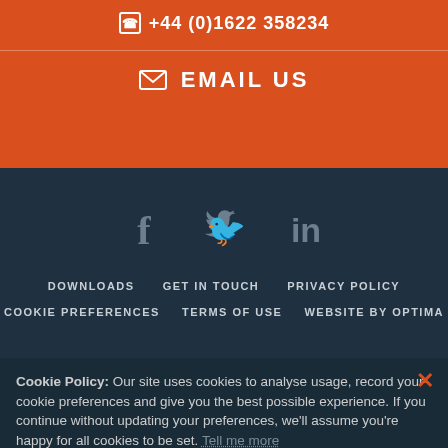+44 (0)1622 358234
EMAIL US
[Figure (infographic): Social media icons: Facebook (f), Twitter (bird), LinkedIn (in) in grey on dark background]
DOWNLOADS
GET IN TOUCH
PRIVACY POLICY
COOKIE PREFERENCES
TERMS OF USE
WEBSITE BY OPTIMA
Cookie Policy: Our site uses cookies to analyse usage, record your cookie preferences and give you the best possible experience. If you continue without updating your preferences, we'll assume you're happy for all cookies to be set. Tell me more